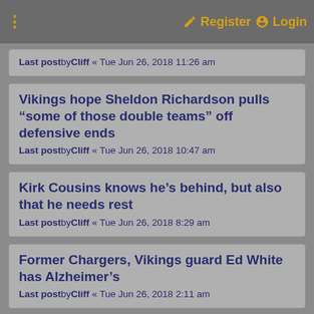⋮  Register  Login
Last postbyCliff « Tue Jun 26, 2018 11:26 am
Vikings hope Sheldon Richardson pulls “some of those double teams” off defensive ends
Last postbyCliff « Tue Jun 26, 2018 10:47 am
Kirk Cousins knows he’s behind, but also that he needs rest
Last postbyCliff « Tue Jun 26, 2018 8:29 am
Former Chargers, Vikings guard Ed White has Alzheimer’s
Last postbyCliff « Tue Jun 26, 2018 2:11 am